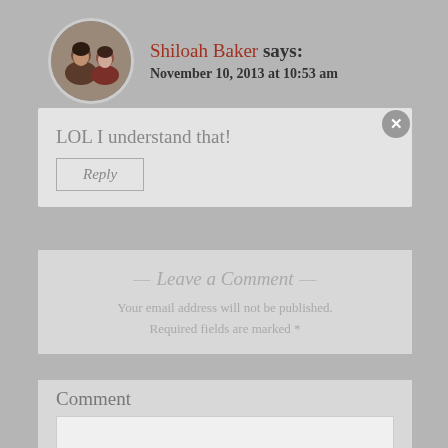[Figure (photo): Circular avatar photo of a couple (man and woman) used as commenter profile picture]
Shiloah Baker says:
November 10, 2013 at 10:53 am
LOL I understand that!
Reply
— Leave a Comment —
Your email address will not be published. Required fields are marked *
Comment